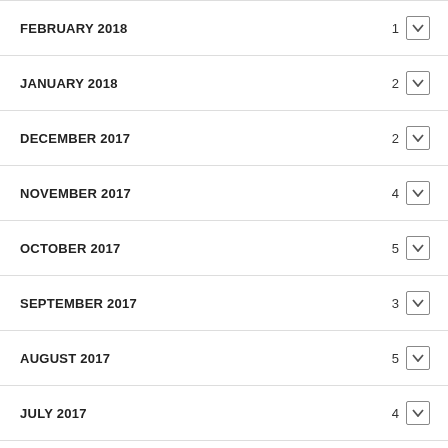FEBRUARY 2018 — 1
JANUARY 2018 — 2
DECEMBER 2017 — 2
NOVEMBER 2017 — 4
OCTOBER 2017 — 5
SEPTEMBER 2017 — 3
AUGUST 2017 — 5
JULY 2017 — 4
JUNE 2017 — 4
MAY 2017 — 5
APRIL 2017 — 4
MARCH 2017 — 5